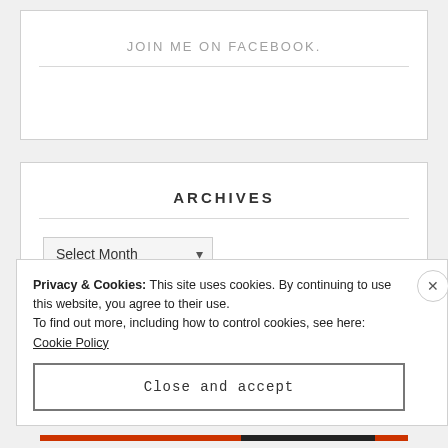JOIN ME ON FACEBOOK.
ARCHIVES
Select Month
Privacy & Cookies: This site uses cookies. By continuing to use this website, you agree to their use.
To find out more, including how to control cookies, see here: Cookie Policy
Close and accept